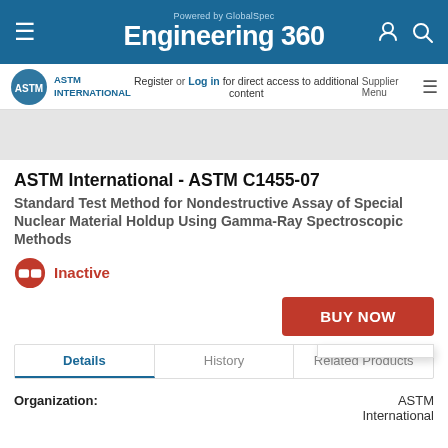Engineering 360 — Powered by GlobalSpec
Register or Log in for direct access to additional content
ASTM International - ASTM C1455-07
Standard Test Method for Nondestructive Assay of Special Nuclear Material Holdup Using Gamma-Ray Spectroscopic Methods
Inactive
BUY NOW
Details   History   Related Products
Organization:   ASTM International